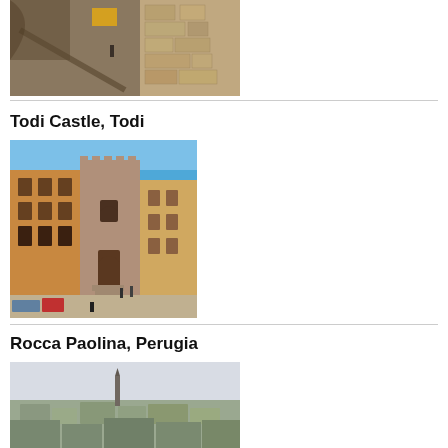[Figure (photo): Top portion of a narrow alley in Assisi with stone walls and arch]
Todi Castle, Todi
[Figure (photo): Todi Castle piazza with medieval buildings, stone tower with crenellations, and people in the square]
Rocca Paolina, Perugia
[Figure (photo): Aerial/panoramic view of Perugia showing rooftops and a tall church spire]